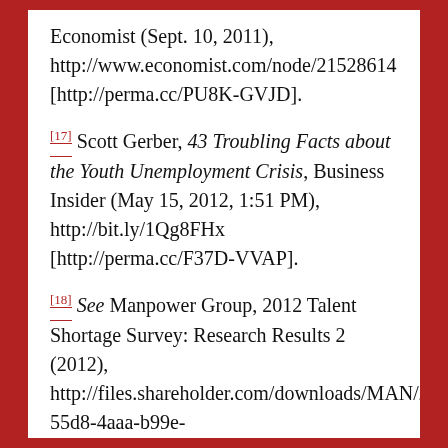Economist (Sept. 10, 2011), http://www.economist.com/node/21528614 [http://perma.cc/PU8K-GVJD].
[17] Scott Gerber, 43 Troubling Facts about the Youth Unemployment Crisis, Business Insider (May 15, 2012, 1:51 PM), http://bit.ly/1Qg8FHx [http://perma.cc/F37D-VVAP].
[18] See Manpower Group, 2012 Talent Shortage Survey: Research Results 2 (2012), http://files.shareholder.com/downloads/MAN/2146490106x0x571882/ac2b52c1-55d8-4aaa-b99e-583bd8a82d0c/2012%20Talent%20Shortage%20Survey%20Res_US_FINAL%20(2).pdf [http://perma.cc/4UGC-KEY2].